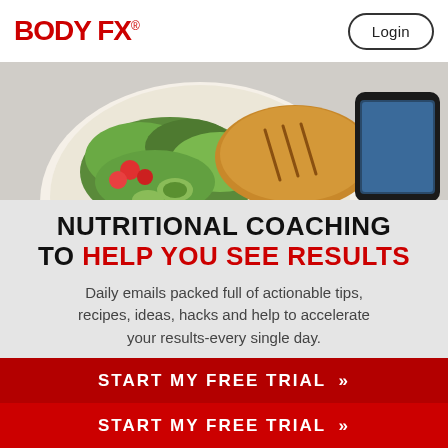[Figure (logo): BODY FX logo in red bold text with registered trademark symbol]
Login
[Figure (photo): Overhead view of a salad plate with grilled chicken, green leaves, tomatoes, cucumber, and a smartphone partially visible at the top right edge]
NUTRITIONAL COACHING TO HELP YOU SEE RESULTS
Daily emails packed full of actionable tips, recipes, ideas, hacks and help to accelerate your results-every single day.
START MY FREE TRIAL »
START MY FREE TRIAL »